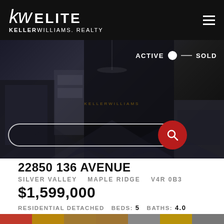kw ELITE KELLERWILLIAMS. REALTY
[Figure (photo): Dark luxury interior living room with geometric decor, used as hero banner background. Overlaid with ACTIVE/SOLD toggle and a search bar with red search button and filter icon.]
22850 136 AVENUE
SILVER VALLEY   MAPLE RIDGE   V4R 0B3
$1,599,000
RESIDENTIAL DETACHED   BEDS: 5   BATHS: 4.0
3,565 SQ. FT.   BUILT: 2015